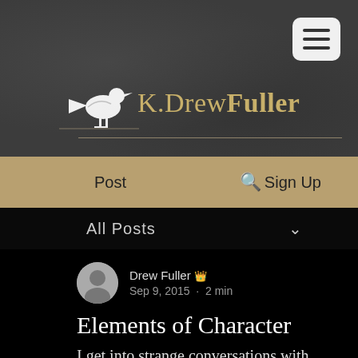K.DrewFuller
Post   🔍   Sign Up
All Posts
Drew Fuller 👑
Sep 9, 2015 · 2 min
Elements of Character
I get into strange conversations with people because I think there are